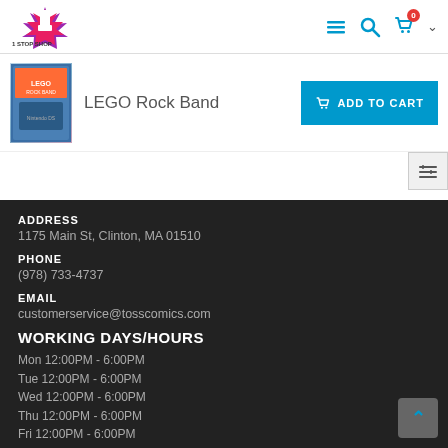1 STOP SHOP — navigation header with logo, menu, search, cart (0 items)
LEGO Rock Band
ADD TO CART
ADDRESS
1175 Main St, Clinton, MA 01510
PHONE
(978) 733-4737
EMAIL
customerservice@tosscomics.com
WORKING DAYS/HOURS
Mon 12:00PM - 6:00PM
Tue 12:00PM - 6:00PM
Wed 12:00PM - 6:00PM
Thu 12:00PM - 6:00PM
Fri 12:00PM - 6:00PM
Sat 12:00PM - 6:00PM
Sun 12:00PM - 5:00PM
POLICIES